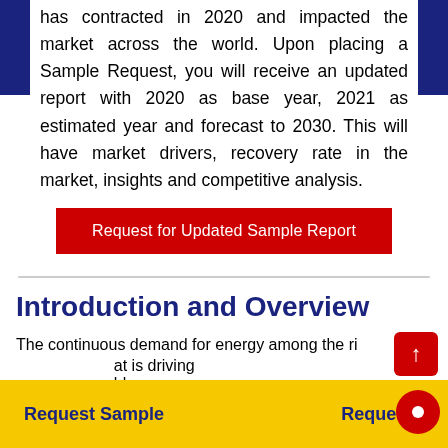has contracted in 2020 and impacted the market across the world. Upon placing a Sample Request, you will receive an updated report with 2020 as base year, 2021 as estimated year and forecast to 2030. This will have market drivers, recovery rate in the market, insights and competitive analysis.
Request for Updated Sample Report
Introduction and Overview
The continuous demand for energy among the ri... at is driving... ble energy s...